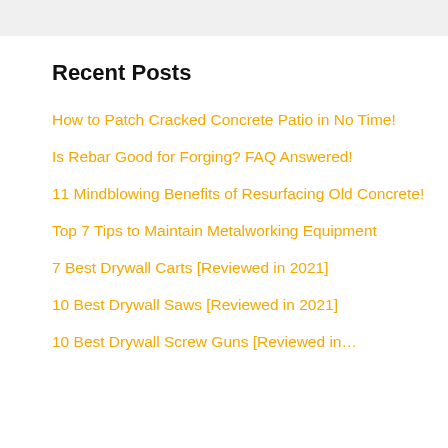Recent Posts
How to Patch Cracked Concrete Patio in No Time!
Is Rebar Good for Forging? FAQ Answered!
11 Mindblowing Benefits of Resurfacing Old Concrete!
Top 7 Tips to Maintain Metalworking Equipment
7 Best Drywall Carts [Reviewed in 2021]
10 Best Drywall Saws [Reviewed in 2021]
10 Best Drywall Screw Guns [Reviewed in…